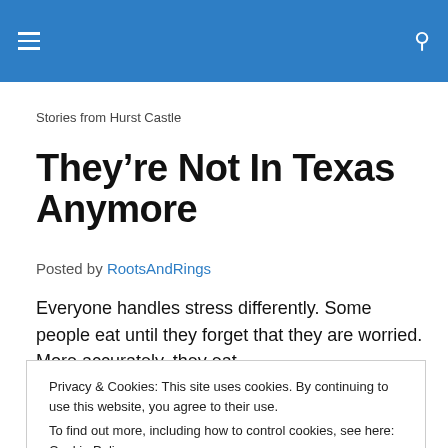Stories from Hurst Castle
They’re Not In Texas Anymore
Posted by RootsAndRings
Everyone handles stress differently. Some people eat until they forget that they are worried. More accurately, they eat
Privacy & Cookies: This site uses cookies. By continuing to use this website, you agree to their use.
To find out more, including how to control cookies, see here: Cookie Policy
I fall into a different category. I fall apart. I get knots in my